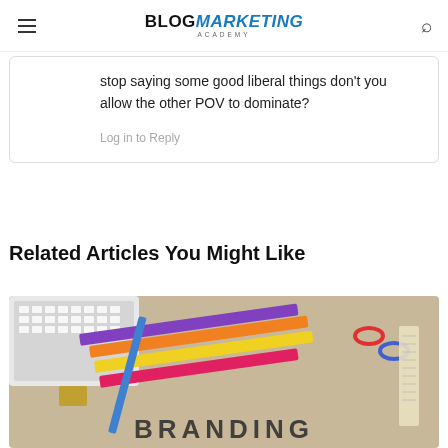BLOG MARKETING ACADEMY
stop saying some good liberal things don't you allow the other POV to dominate?
Log in to Reply
Related Articles You Might Like
[Figure (photo): Desk with keyboard, pencils, paper clips, and a ruler with the word BRANDING at the bottom]